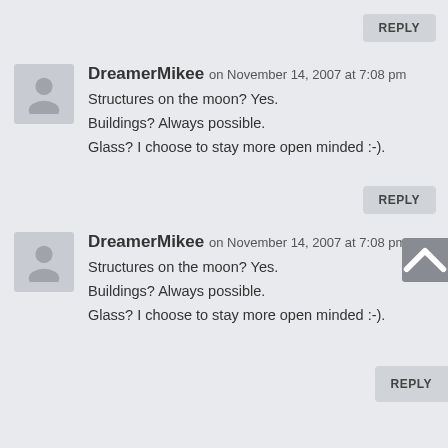REPLY
DreamerMikee on November 14, 2007 at 7:08 pm
Structures on the moon? Yes.
Buildings? Always possible.
Glass? I choose to stay more open minded :-).
REPLY
DreamerMikee on November 14, 2007 at 7:08 pm
Structures on the moon? Yes.
Buildings? Always possible.
Glass? I choose to stay more open minded :-).
REPLY